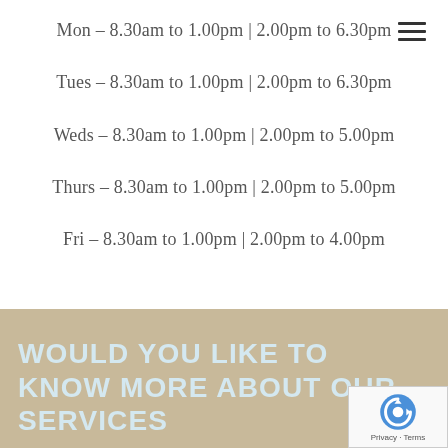Mon – 8.30am to 1.00pm | 2.00pm to 6.30pm
Tues – 8.30am to 1.00pm | 2.00pm to 6.30pm
Weds – 8.30am to 1.00pm | 2.00pm to 5.00pm
Thurs – 8.30am to 1.00pm | 2.00pm to 5.00pm
Fri – 8.30am to 1.00pm | 2.00pm to 4.00pm
WOULD YOU LIKE TO KNOW MORE ABOUT OUR SERVICES